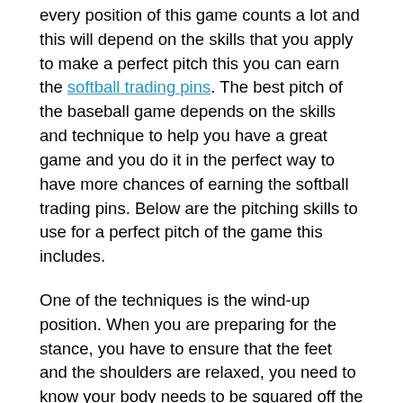every position of this game counts a lot and this will depend on the skills that you apply to make a perfect pitch this you can earn the softball trading pins. The best pitch of the baseball game depends on the skills and technique to help you have a great game and you do it in the perfect way to have more chances of earning the softball trading pins. Below are the pitching skills to use for a perfect pitch of the game this includes.
One of the techniques is the wind-up position. When you are preparing for the stance, you have to ensure that the feet and the shoulders are relaxed, you need to know your body needs to be squared off the plate.
There is the skill of leg lift for a perfect pitch. You have to know that the higher you lift your leg, the harder you will be able to balance; thus, you have to keep it steady in the parallel ground for best pitch to earn the